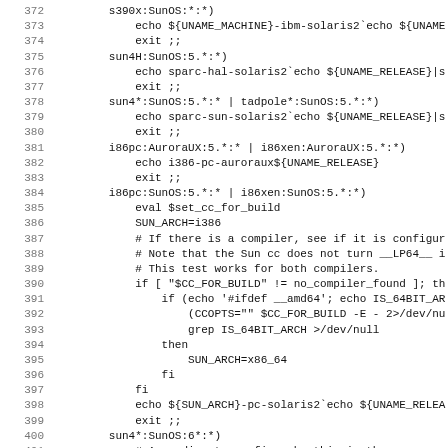Source code listing, lines 372-403, shell script for OS/architecture detection
372    s390x:SunOS:*:*)
373        echo ${UNAME_MACHINE}-ibm-solaris2`echo ${UNAME...
374        exit ;;
375    sun4H:SunOS:5.*:*)
376        echo sparc-hal-solaris2`echo ${UNAME_RELEASE}|s...
377        exit ;;
378    sun4*:SunOS:5.*:* | tadpole*:SunOS:5.*:*)
379        echo sparc-sun-solaris2`echo ${UNAME_RELEASE}|s...
380        exit ;;
381    i86pc:AuroraUX:5.*:* | i86xen:AuroraUX:5.*:*)
382        echo i386-pc-auroraux${UNAME_RELEASE}
383        exit ;;
384    i86pc:SunOS:5.*:* | i86xen:SunOS:5.*:*)
385        eval $set_cc_for_build
386        SUN_ARCH=i386
387        # If there is a compiler, see if it is configur...
388        # Note that the Sun cc does not turn __LP64__ i...
389        # This test works for both compilers.
390        if [ "$CC_FOR_BUILD" != no_compiler_found ]; th...
391            if (echo '#ifdef __amd64'; echo IS_64BIT_AR...
392                (CCOPTS="" $CC_FOR_BUILD -E - 2>/dev/nu...
393                grep IS_64BIT_ARCH >/dev/null
394            then
395                SUN_ARCH=x86_64
396            fi
397        fi
398        echo ${SUN_ARCH}-pc-solaris2`echo ${UNAME_RELEA...
399        exit ;;
400    sun4*:SunOS:6*:*)
401        # According to config.sub, this is the proper w...
402        # SunOS6.  Hard to guess exactly what SunOS6 wi...
403        # it's likely to be more like Solaris than Sun...